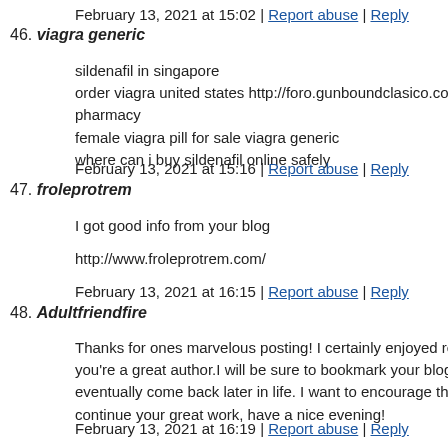February 13, 2021 at 15:02 | Report abuse | Reply
46. viagra generic
sildenafil in singapore
order viagra united states http://foro.gunboundclasico.com/ind pharmacy
female viagra pill for sale viagra generic
where can i buy sildenafil online safely
February 13, 2021 at 15:16 | Report abuse | Reply
47. froleprotrem
I got good info from your blog
http://www.froleprotrem.com/
February 13, 2021 at 16:15 | Report abuse | Reply
48. Adultfriendfire
Thanks for ones marvelous posting! I certainly enjoyed reading you're a great author.I will be sure to bookmark your blog and will eventually come back later in life. I want to encourage that you continue your great work, have a nice evening!
February 13, 2021 at 16:19 | Report abuse | Reply